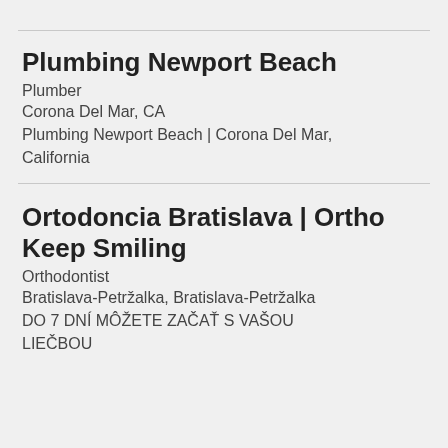Plumbing Newport Beach
Plumber
Corona Del Mar, CA
Plumbing Newport Beach | Corona Del Mar, California
Ortodoncia Bratislava | Ortho Keep Smiling
Orthodontist
Bratislava-Petržalka, Bratislava-Petržalka
DO 7 DNÍ MÔŽETE ZAČAŤ S VAŠOU LIEČBOU